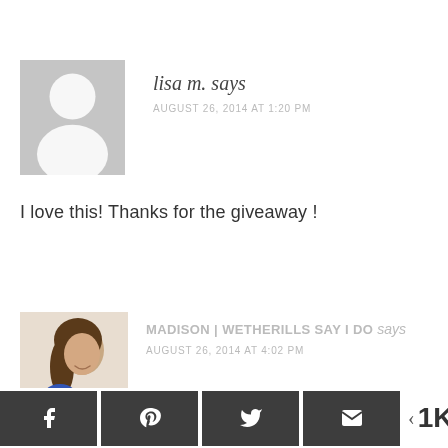[Figure (illustration): Gray placeholder avatar with silhouette of a person (head and shoulders)]
lisa m. says
AUGUST 26, 2014 AT 1:20 PM
I love this! Thanks for the giveaway !
[Figure (photo): Photo of Madison, a woman smiling, wearing a blue top, with long dark hair]
MADISON | WETHERILLS SAY I DO says
AUGUST 26, 2014 AT 4:02 PM
[Figure (infographic): Social share bar with Facebook, Pinterest, Twitter, Email buttons and 1K SHARES count]